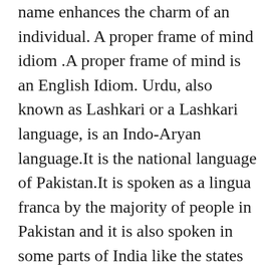name enhances the charm of an individual. A proper frame of mind idiom .A proper frame of mind is an English Idiom. Urdu, also known as Lashkari or a Lashkari language, is an Indo-Aryan language.It is the national language of Pakistan.It is spoken as a lingua franca by the majority of people in Pakistan and it is also spoken in some parts of India like the states of Telangana, Andhra Pradesh, Delhi, Bihar and Uttar Pradesh.When spoken, it sounds the same as Hindi with exceptions of certain vocabulary ... Urdu Meaning or Translation. Back to Sports Back to Basketball The rules of basketball can vary slightly depending on the level of play (for example professional rules differ from college rules) or where the game is